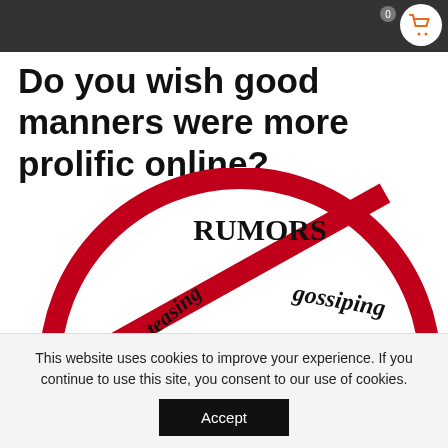Do you wish good manners were more prolific online?
[Figure (illustration): A red circular 'prohibited' sign (circle with diagonal slash) containing words: RUMORS, teasing, gossiping, insults, threats — representing online bad behavior.]
This website uses cookies to improve your experience. If you continue to use this site, you consent to our use of cookies.